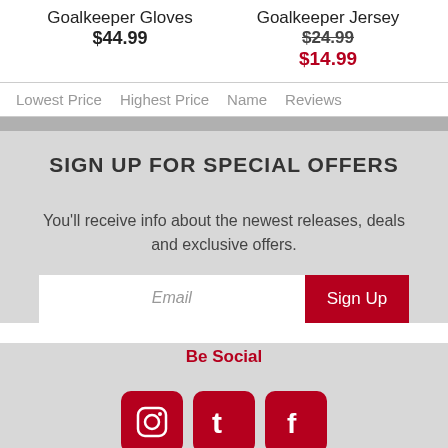Goalkeeper Gloves
$44.99
Goalkeeper Jersey
$24.99
$14.99
Lowest Price  Highest Price  Name  Reviews
SIGN UP FOR SPECIAL OFFERS
You'll receive info about the newest releases, deals and exclusive offers.
Email  Sign Up
Be Social
[Figure (infographic): Three red rounded square social media icons: Instagram, Twitter, Facebook]
count
Login or Create Account
Customer Service
Helpcenter